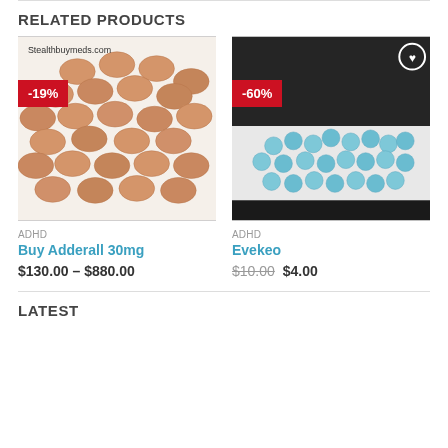RELATED PRODUCTS
[Figure (photo): Photo of multiple orange/tan oval pills (Adderall 30mg) on a white surface with watermark 'Stealthbuymeds.com'. Red badge showing -19% discount.]
ADHD
Buy Adderall 30mg
$130.00 – $880.00
[Figure (photo): Photo of many small blue round pills (Evekeo) scattered on a white surface with dark background. Red badge showing -60% discount. Wishlist heart icon visible.]
ADHD
Evekeo
$10.00 $4.00
LATEST